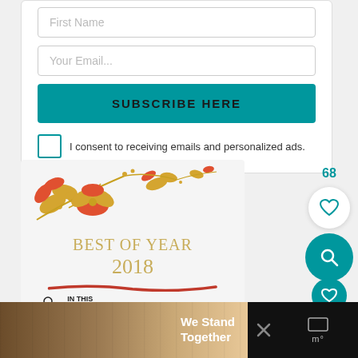First Name
Your Email...
SUBSCRIBE HERE
I consent to receiving emails and personalized ads.
[Figure (illustration): Best of Year 2018 decorative card with autumn floral design (red and gold leaves), text 'BEST OF YEAR 2018', red brushstroke line, and 'In This New Year... And' text with illustrated figure]
68
[Figure (infographic): Side panel with like count 68, white circle heart button, teal circle search button, small teal circle heart button, and coral circle share button]
[Figure (photo): Bottom advertisement bar showing group of people with 'We Stand Together' text, close X button, and right side icons]